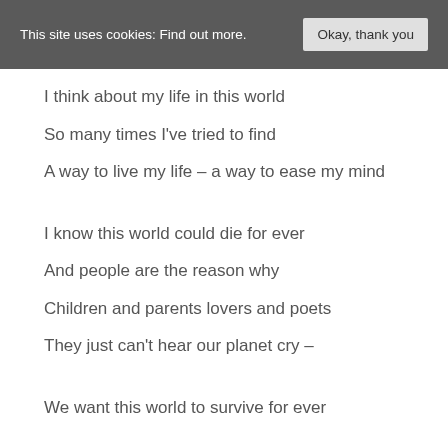This site uses cookies: Find out more.  Okay, thank you
I think about my life in this world
So many times I've tried to find
A way to live my life – a way to ease my mind
I know this world could die for ever
And people are the reason why
Children and parents lovers and poets
They just can't hear our planet cry –
We want this world to survive for ever